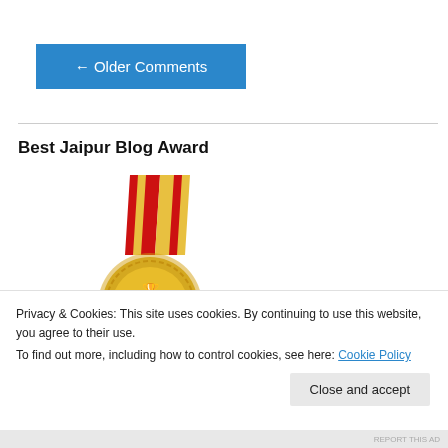← Older Comments
Best Jaipur Blog Award
[Figure (photo): Gold award medal with red ribbon and text 'AWARDED TOP 5']
Privacy & Cookies: This site uses cookies. By continuing to use this website, you agree to their use.
To find out more, including how to control cookies, see here: Cookie Policy
Close and accept